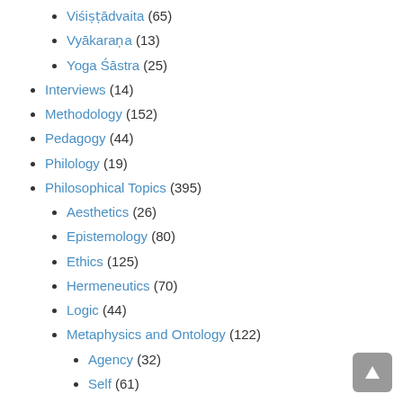Viśiṣṭādvaita (65)
Vyākaraṇa (13)
Yoga Śāstra (25)
Interviews (14)
Methodology (152)
Pedagogy (44)
Philology (19)
Philosophical Topics (395)
Aesthetics (26)
Epistemology (80)
Ethics (125)
Hermeneutics (70)
Logic (44)
Metaphysics and Ontology (122)
Agency (32)
Self (61)
Philosophy of Language (61)
Philosophy of Religion (131)
Deities (49)
Life After Death (28)
Mystical Experience (14)